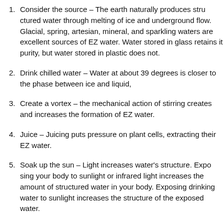Consider the source – The earth naturally produces structured water through melting of ice and underground flow. Glacial, spring, artesian, mineral, and sparkling waters are excellent sources of EZ water. Water stored in glass retains it purity, but water stored in plastic does not.
Drink chilled water – Water at about 39 degrees is closer to the phase between ice and liquid,
Create a vortex – the mechanical action of stirring creates and increases the formation of EZ water.
Juice – Juicing puts pressure on plant cells, extracting their EZ water.
Soak up the sun – Light increases water's structure. Exposing your body to sunlight or infrared light increases the amount of structured water in your body. Exposing drinking water to sunlight increases the structure of the exposed water.